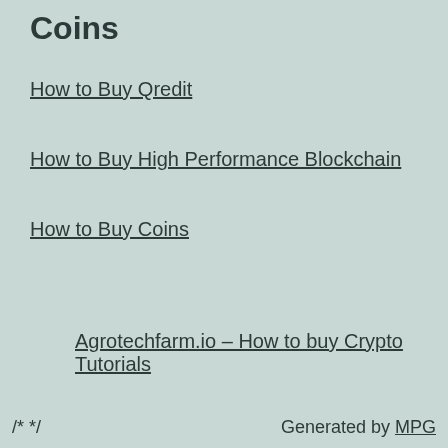Coins
How to Buy Qredit
How to Buy High Performance Blockchain
How to Buy Coins
Agrotechfarm.io – How to buy Crypto Tutorials
/* */    Generated by MPG